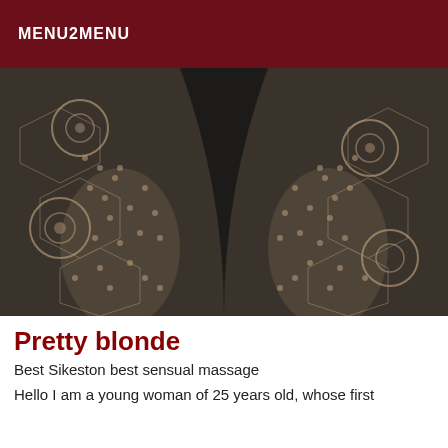MENU2MENU
[Figure (photo): Close-up photograph of black lace fabric with intricate floral and geometric patterns, skin visible underneath]
Pretty blonde
Best Sikeston best sensual massage
Hello I am a young woman of 25 years old, whose first